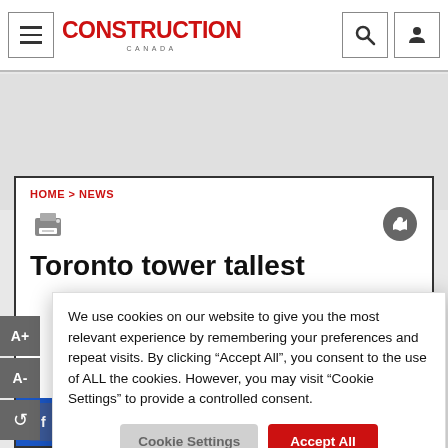Construction Canada — Navigation bar with hamburger menu, logo, search and user icons
HOME > NEWS
Toronto tower tallest
We use cookies on our website to give you the most relevant experience by remembering your preferences and repeat visits. By clicking “Accept All”, you consent to the use of ALL the cookies. However, you may visit “Cookie Settings” to provide a controlled consent.
Cookie Settings | Accept All